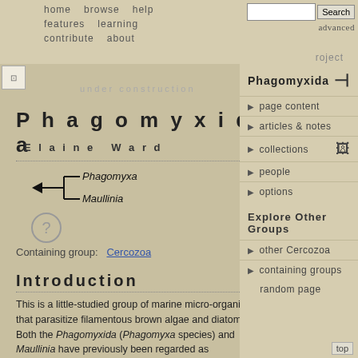home   browse   help   features   learning   contribute   about   roject   under construction
Phagomyxida
Elaine Ward
[Figure (illustration): Cladogram showing Phagomyxa and Maullinia with bracket and arrow]
[Figure (illustration): Question mark icon in circle]
Containing group:   Cercozoa
Introduction
This is a little-studied group of marine micro-organisms that parasitize filamentous brown algae and diatoms. Both the Phagomyxida (Phagomyxa species) and Maullinia have previously been regarded as
Phagomyxida
page content
articles & notes
collections
people
options
Explore Other Groups
other Cercozoa
containing groups
random page
top